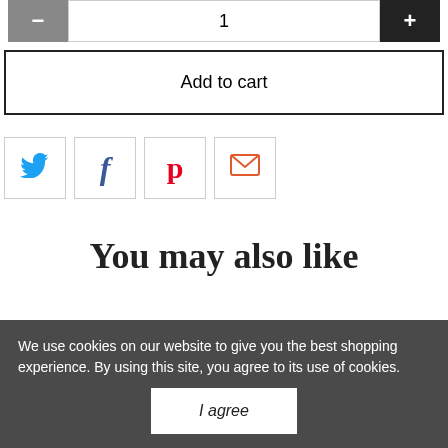[Figure (other): Quantity selector with minus button (grey), quantity input field showing 1, and plus button (black)]
Add to cart
[Figure (other): Social sharing icons: Twitter (blue bird), Facebook (blue f), Pinterest (red p), Email (orange envelope)]
You may also like
We use cookies on our website to give you the best shopping experience. By using this site, you agree to its use of cookies.
I agree